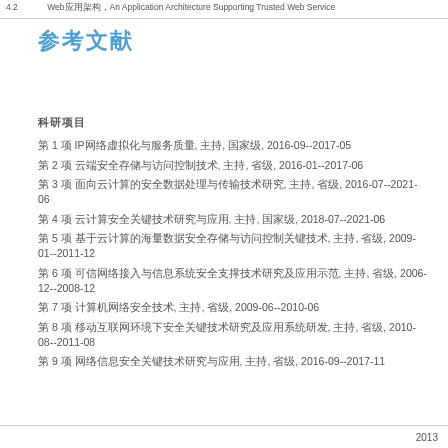4.2 Web Application Architecture Supporting Trusted Web Service
参考文献
科研项目
第 1 项 IP网络虚拟化与服务质量, 主持, 国家级, 2016-09--2017-05
第 2 项 云端安全存储与访问控制技术, 主持, 省级, 2016-01--2017-06
第 3 项 面向云计算的安全数据处理与传输技术研究, 主持, 省级, 2016-07--2021-06
第 4 项 云计算安全关键技术研究与应用, 主持, 国家级, 2018-07--2021-06
第 5 项 基于云计算的海量数据安全存储与访问控制关键技术, 主持, 省级, 2009-01--2011-12
第 6 项 可信网络接入与信息系统安全支撑技术研究及应用示范, 主持, 省级, 2006-12--2008-12
第 7 项 计算机网络安全技术, 主持, 省级, 2009-06--2010-06
第 8 项 移动互联网环境下安全关键技术研究及应用系统研发, 主持, 省级, 2010-08--2011-08
第 9 项 网络信息安全关键技术研究与应用, 主持, 省级, 2016-09--2017-11
2013